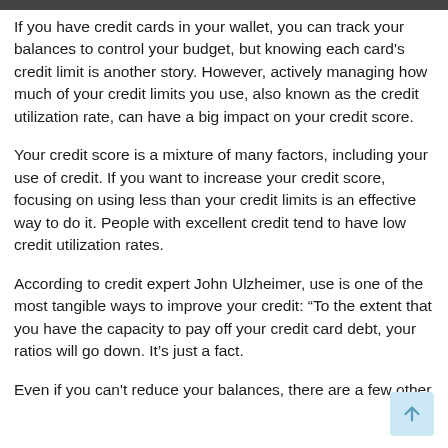If you have credit cards in your wallet, you can track your balances to control your budget, but knowing each card's credit limit is another story. However, actively managing how much of your credit limits you use, also known as the credit utilization rate, can have a big impact on your credit score.
Your credit score is a mixture of many factors, including your use of credit. If you want to increase your credit score, focusing on using less than your credit limits is an effective way to do it. People with excellent credit tend to have low credit utilization rates.
According to credit expert John Ulzheimer, use is one of the most tangible ways to improve your credit: “To the extent that you have the capacity to pay off your credit card debt, your ratios will go down. It’s just a fact.
Even if you can't reduce your balances, there are a few other